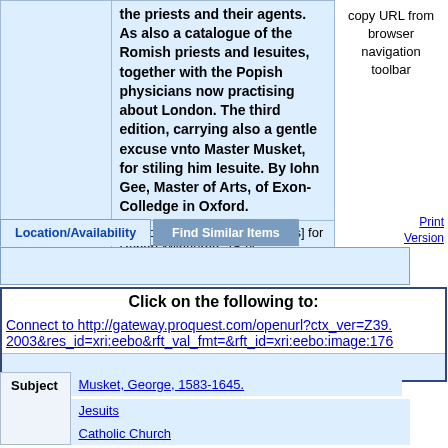|  |  |
| --- | --- |
|  | the priests and their agents. As also a catalogue of the Romish priests and Iesuites, together with the Popish physicians now practising about London. The third edition, carrying also a gentle excuse vnto Master Musket, for stiling him Iesuite. By Iohn Gee, Master of Arts, of Exon-Colledge in Oxford. |
| Publication Info | London : Printed by H. L[ownes] for Robert Milbourne, 1624. |
copy URL from browser navigation toolbar
Location/Availability | Find Similar Items | Print Version
Click on the following to:
Connect to http://gateway.proquest.com/openurl?ctx_ver=Z39.2003&res_id=xri:eebo&rft_val_fmt=&rft_id=xri:eebo:image:176
| Subject |  |
| --- | --- |
| Subject | Musket, George, 1583-1645. |
|  | Jesuits |
|  | Catholic Church |